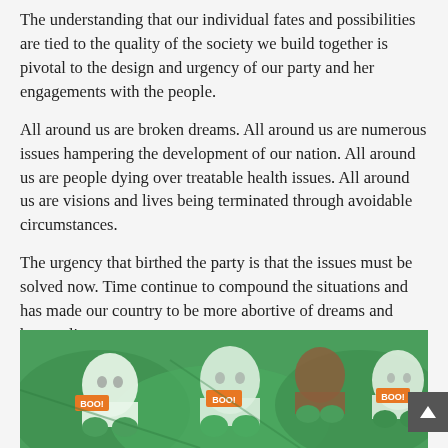The understanding that our individual fates and possibilities are tied to the quality of the society we build together is pivotal to the design and urgency of our party and her engagements with the people.
All around us are broken dreams. All around us are numerous issues hampering the development of our nation. All around us are people dying over treatable health issues. All around us are visions and lives being terminated through avoidable circumstances.
The urgency that birthed the party is that the issues must be solved now. Time continue to compound the situations and has made our country to be more abortive of dreams and human lives.
[Figure (photo): Green ghost-themed stuffed toys or decorations with 'BOO!' tags on them, multiple plush ghost figures in green fabric]